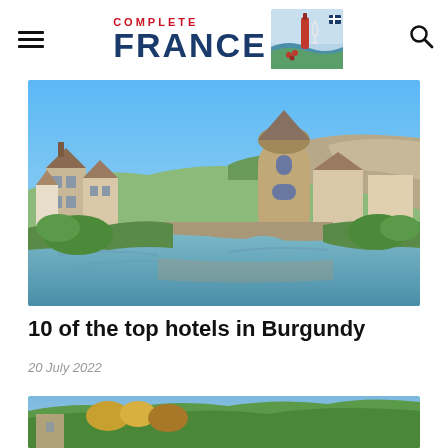Complete France
[Figure (photo): Scenic view of a medieval French village in Burgundy with stone bridge over a river, old stone buildings, a round tower, and lush green vegetation reflected in calm water under blue sky.]
10 of the top hotels in Burgundy
20 July 2022
[Figure (photo): Partial view of a second photo showing trees and greenery, likely another Burgundy landscape.]